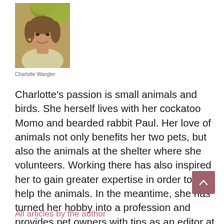[Figure (photo): Headshot photo of Charlotte Wangler, a woman smiling outdoors with foliage in the background]
Charlotte Wangler
Charlotte's passion is small animals and birds. She herself lives with her cockatoo Momo and bearded rabbit Paul. Her love of animals not only benefits her two pets, but also the animals at the shelter where she volunteers. Working there has also inspired her to gain greater expertise in order to truly help the animals. In the meantime, she has turned her hobby into a profession and provides pet owners with tips as an editor at Pet Advisor.
All articles by the author